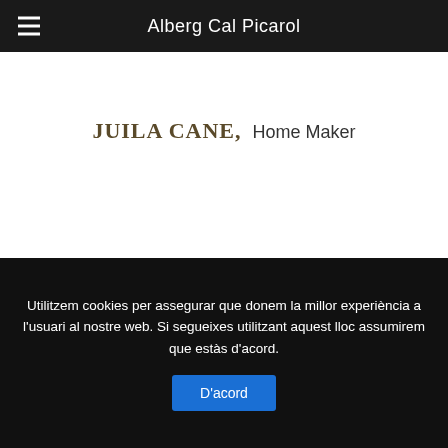Alberg Cal Picarol
JUILA CANE,  Home Maker
Utilitzem cookies per assegurar que donem la millor experiència a l'usuari al nostre web. Si segueixes utilitzant aquest lloc assumirem que estàs d'acord.
D'acord